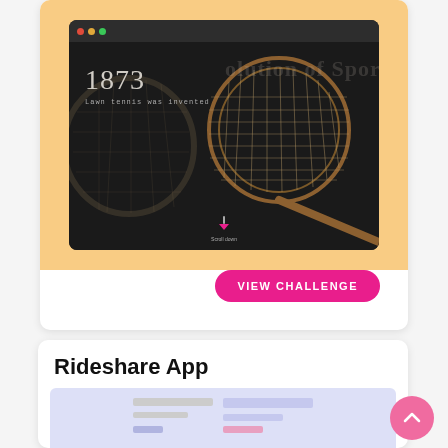[Figure (screenshot): A browser window screenshot showing a dark-themed website about 'Evolution of Sport' with the year 1873 and text 'Lawn tennis was invented', with a vintage wooden tennis racket image on a warm peach/yellow background card.]
VIEW CHALLENGE
Rideshare App
[Figure (screenshot): Partial preview of a Rideshare App UI on a light purple/lavender background, partially visible at the bottom of the page.]